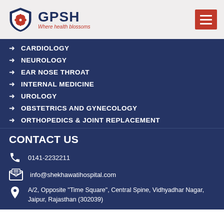[Figure (logo): GPSH hospital logo with shield icon and tagline 'Where health blossoms']
CARDIOLOGY
NEUROLOGY
EAR NOSE THROAT
INTERNAL MEDICINE
UROLOGY
OBSTETRICS AND GYNECOLOGY
ORTHOPEDICS & JOINT REPLACEMENT
CONTACT US
0141-2232211
info@shekhawatihospital.com
A/2, Opposite "Time Square", Central Spine, Vidhyadhar Nagar, Jaipur, Rajasthan (302039)